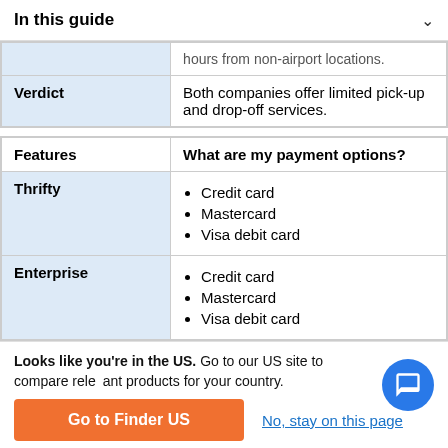In this guide
|  |  |
| --- | --- |
| Verdict | Both companies offer limited pick-up and drop-off services. |
| Features | What are my payment options? |
| --- | --- |
| Thrifty | Credit card
Mastercard
Visa debit card |
| Enterprise | Credit card
Mastercard
Visa debit card |
Looks like you're in the US. Go to our US site to compare relevant products for your country.
Go to Finder US
No, stay on this page